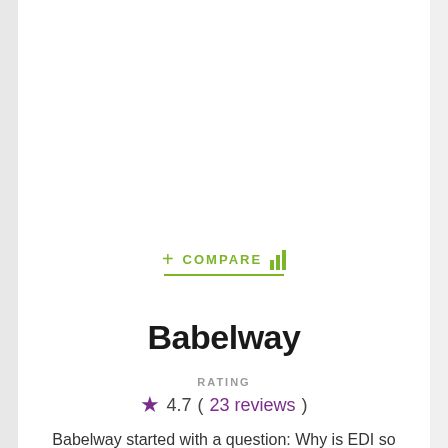+ COMPARE [bar chart icon]
Babelway
RATING
★ 4.7 ( 23 reviews )
Babelway started with a question: Why is EDI so freaking complex? In the decade since, users have been